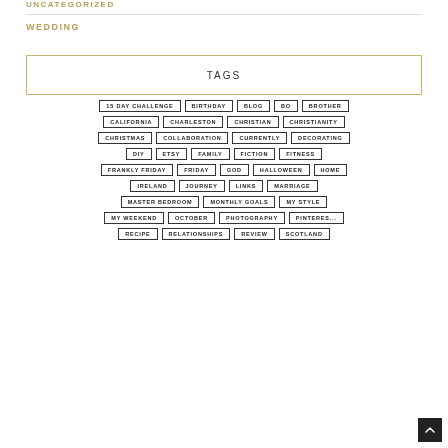UNCATEGORIZED
WEDDING
TAGS
15 DAY CHALLENGE
BIRTHDAY
BLOG
BO
BROTHER
CALIFORNIA
CHARLESTON
CHRISTIAN
CHRISTIANITY
CHRISTMAS
COLLABORATION
CURRENTLY
DECORATING
DIY
ETSY
FAMILY
FICTION
FITNESS
FRANKLY FRIDAY
FRIDAY
GOD
HALLOWEEN
HOME
IRELAND
JOURNEY
LINKS
MARRIAGE
MASTER BEDROOM
MONTHLY GOALS
MY STYLE
MY WEEKEND
OCTOBER
PHOTOGRAPHY
PINTEREST
RECIPE
RELATIONSHIPS
REVIEW
SCOTLAND